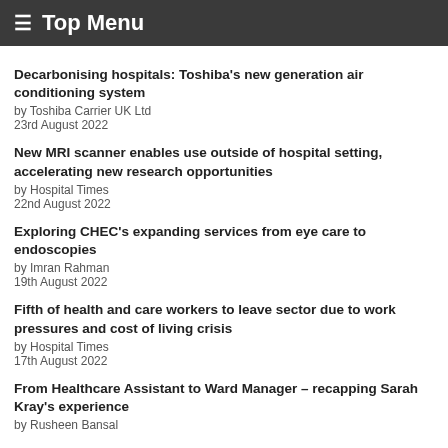≡ Top Menu
Decarbonising hospitals: Toshiba's new generation air conditioning system
by Toshiba Carrier UK Ltd
23rd August 2022
New MRI scanner enables use outside of hospital setting, accelerating new research opportunities
by Hospital Times
22nd August 2022
Exploring CHEC's expanding services from eye care to endoscopies
by Imran Rahman
19th August 2022
Fifth of health and care workers to leave sector due to work pressures and cost of living crisis
by Hospital Times
17th August 2022
From Healthcare Assistant to Ward Manager – recapping Sarah Kray's experience
by Rusheen Bansal